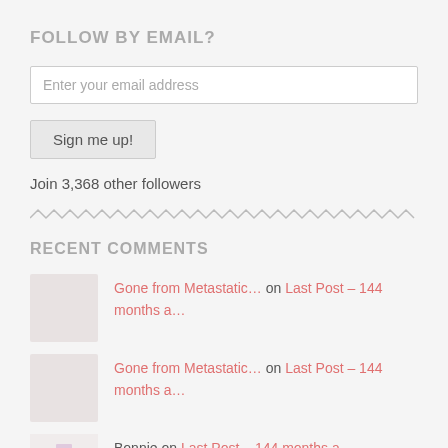FOLLOW BY EMAIL?
Enter your email address
Sign me up!
Join 3,368 other followers
RECENT COMMENTS
Gone from Metastatic... on Last Post – 144 months a...
Gone from Metastatic... on Last Post – 144 months a...
Bonnie on Last Post – 144 months a...